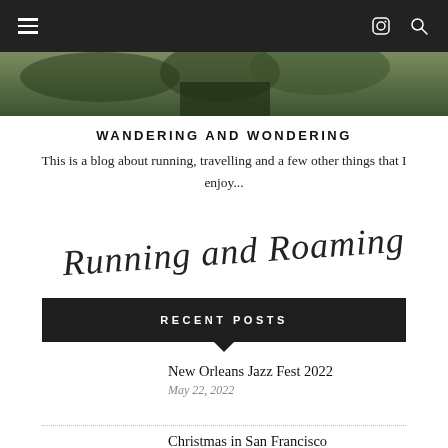Navigation bar with hamburger menu, Instagram and search icons
[Figure (photo): Outdoor nature/forest photo banner]
WANDERING AND WONDERING
This is a blog about running, travelling and a few other things that I enjoy...
[Figure (illustration): Handwritten signature text: Running and Roaming x]
RECENT POSTS
New Orleans Jazz Fest 2022
May 22, 2022
Christmas in San Francisco